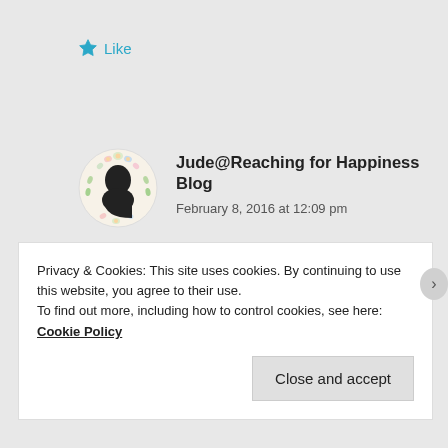★ Like
[Figure (illustration): Circular avatar with floral wreath border and black silhouette profile inside]
Jude@Reaching for Happiness Blog
February 8, 2016 at 12:09 pm
We normally do too, but this rain and wind is relentless this winter! We have 2 weeks of summer, usually 🙂
Privacy & Cookies: This site uses cookies. By continuing to use this website, you agree to their use.
To find out more, including how to control cookies, see here: Cookie Policy
Close and accept